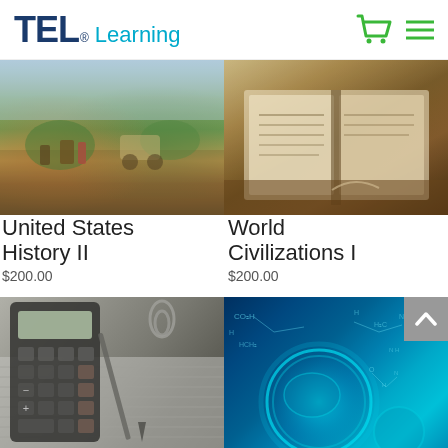TEL® Learning
[Figure (photo): Historical painting of westward expansion scene with horses, people, and covered wagons on a landscape]
United States History II
$200.00
[Figure (photo): Open old book with yellowed pages photographed from close angle]
World Civilizations I
$200.00
[Figure (photo): Calculator and pen on spreadsheet paper, close-up grayscale photo]
[Figure (photo): Science illustration with glowing blue cell and chemistry molecular formulas on blue background]